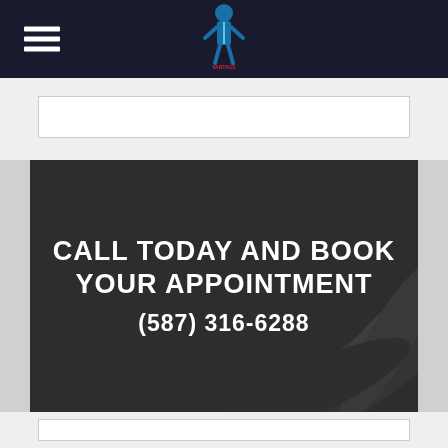Vantage Point Chiropractic & Wellness
CALL TODAY AND BOOK YOUR APPOINTMENT (587) 316-6288